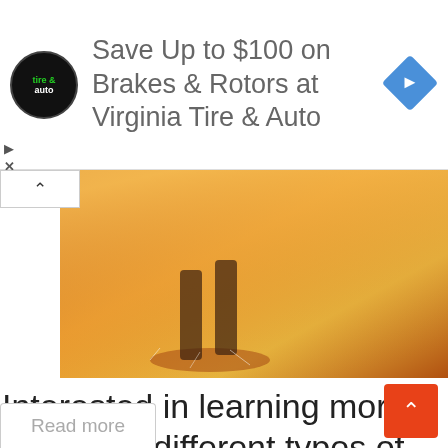[Figure (other): Advertisement banner for Virginia Tire & Auto with logo and diamond-shaped navigation icon. Text reads: Save Up to $100 on Brakes & Rotors at Virginia Tire & Auto]
[Figure (photo): Photo of feet/shoes splashing through water with warm golden light, likely depicting running or sports activity]
Interested in learning more about the different types of kicks? Then keep reading because we'll be breaking it down for...
Read more